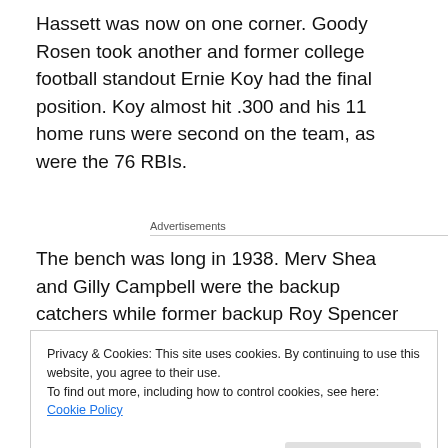Hassett was now on one corner. Goody Rosen took another and former college football standout Ernie Koy had the final position. Koy almost hit .300 and his 11 home runs were second on the team, as were the 76 RBIs.
Advertisements
The bench was long in 1938. Merv Shea and Gilly Campbell were the backup catchers while former backup Roy Spencer got into only 16 games. The 1937 starting
Privacy & Cookies: This site uses cookies. By continuing to use this website, you agree to their use.
To find out more, including how to control cookies, see here: Cookie Policy
Close and accept
in the .270s. Other than Cuyler they didn't do much.